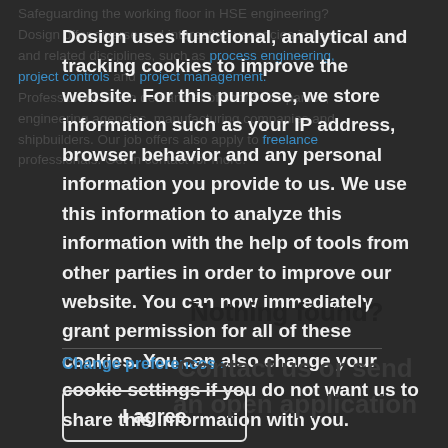Safeguarding the working floor in HSE engineering? Dosign offer diverse and interesting vacancies in hse and related disciplines, such as process engineering, project controls and project management. Professionals are in demand at offshore companies, engineering agencies, manufacturing companies and shipbuilders. Our job offers also apply to freelance professionals. Get in contact for more.
Dosign uses functional, analytical and tracking cookies to improve the website. For this purpose, we store information such as your IP address, browser behavior and any personal information you provide to us. We use this information to analyze this information with the help of tools from other parties in order to improve our website. You can now immediately grant permission for all of these cookies. You can also change your cookie settings if you do not want us to share this information with you.
Nothing found?
Change preferences >
Contact us or send an open application
I agree